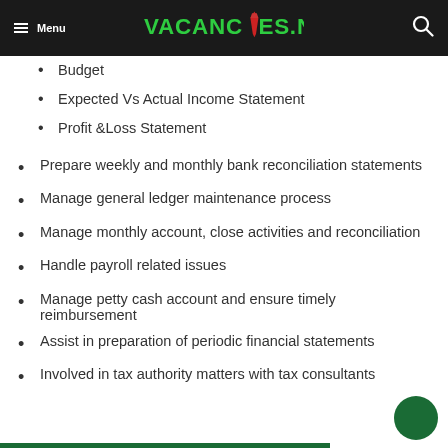Menu | VACANCIES.NG
Budget
Expected Vs Actual Income Statement
Profit &Loss Statement
Prepare weekly and monthly bank reconciliation statements
Manage general ledger maintenance process
Manage monthly account, close activities and reconciliation
Handle payroll related issues
Manage petty cash account and ensure timely reimbursement
Assist in preparation of periodic financial statements
Involved in tax authority matters with tax consultants